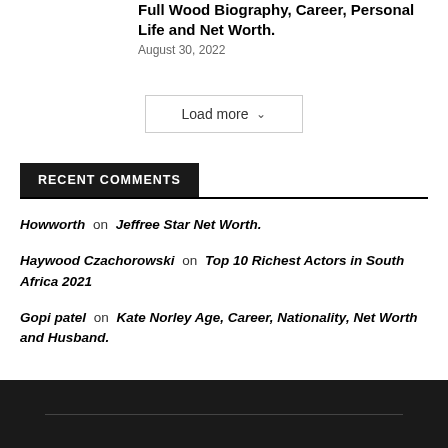Full Wood Biography, Career, Personal Life and Net Worth.
August 30, 2022
Load more
RECENT COMMENTS
Howworth on Jeffree Star Net Worth.
Haywood Czachorowski on Top 10 Richest Actors in South Africa 2021
Gopi patel on Kate Norley Age, Career, Nationality, Net Worth and Husband.